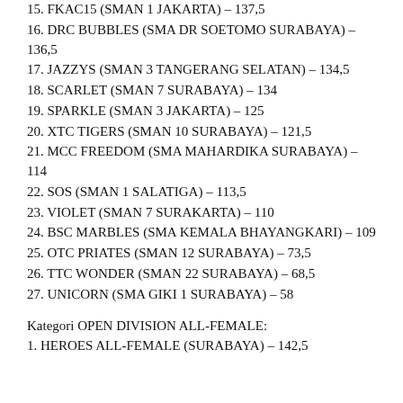16. DRC BUBBLES (SMA DR SOETOMO SURABAYA) – 136,5
17. JAZZYS (SMAN 3 TANGERANG SELATAN) – 134,5
18. SCARLET (SMAN 7 SURABAYA) – 134
19. SPARKLE (SMAN 3 JAKARTA) – 125
20. XTC TIGERS (SMAN 10 SURABAYA) – 121,5
21. MCC FREEDOM (SMA MAHARDIKA SURABAYA) – 114
22. SOS (SMAN 1 SALATIGA) – 113,5
23. VIOLET (SMAN 7 SURAKARTA) – 110
24. BSC MARBLES (SMA KEMALA BHAYANGKARI) – 109
25. OTC PRIATES (SMAN 12 SURABAYA) – 73,5
26. TTC WONDER (SMAN 22 SURABAYA) – 68,5
27. UNICORN (SMA GIKI 1 SURABAYA) – 58
Kategori OPEN DIVISION ALL-FEMALE:
1. HEROES ALL-FEMALE (SURABAYA) – 142,5